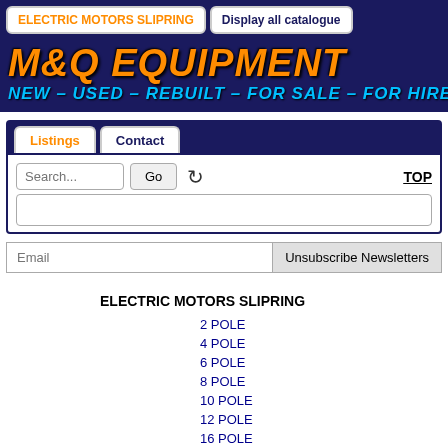ELECTRIC MOTORS SLIPRING | Display all catalogue
[Figure (logo): M&Q EQUIPMENT logo banner with orange italic bold text on dark blue background, subtitle: NEW - USED - REBUILT - FOR SALE - FOR HIRE - WE BUY]
Listings | Contact | Search | Go | TOP
Email | Unsubscribe Newsletters
ELECTRIC MOTORS SLIPRING
2 POLE
4 POLE
6 POLE
8 POLE
10 POLE
12 POLE
16 POLE